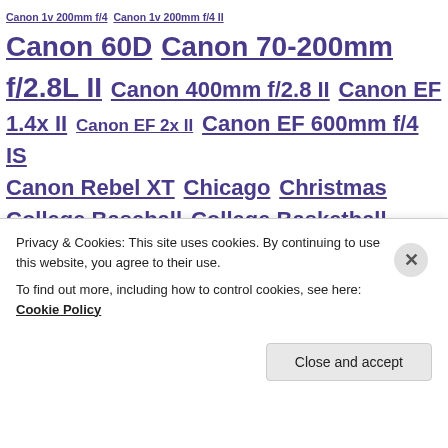Canon 1v 200mm f/4 · Canon 1v 200mm f/4 II · Canon 60D · Canon 70-200mm f/2.8L II · Canon 400mm f/2.8 II · Canon EF 1.4x II · Canon EF 2x II · Canon EF 600mm f/4 IS · Canon Rebel XT · Chicago · Christmas · College Baseball · College Basketball · College Football · College Soccer · College Softball · College Volleyball · Downtown · HDR · High School Baseball · Indiana · Indianapolis · Lake/Pond/River · Landscape · LaPorte · Lightroom 4.0 · Lightroom 5 · Lightroom Presets · Major League Baseball
Privacy & Cookies: This site uses cookies. By continuing to use this website, you agree to their use. To find out more, including how to control cookies, see here: Cookie Policy